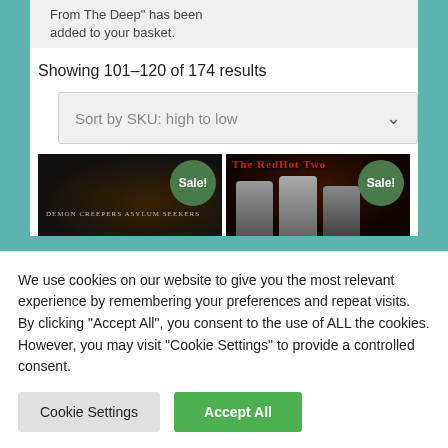From The Deep" has been added to your basket.
Showing 101–120 of 174 results
Sort by SKU: high to low
[Figure (screenshot): Product thumbnail: Demon Creepers Asylum Seekers album cover (dark background) with green Sale! badge]
[Figure (screenshot): Product thumbnail: The RedHot Two band photo with red stylized text logo and green Sale! badge]
We use cookies on our website to give you the most relevant experience by remembering your preferences and repeat visits. By clicking "Accept All", you consent to the use of ALL the cookies. However, you may visit "Cookie Settings" to provide a controlled consent.
Cookie Settings
Accept All